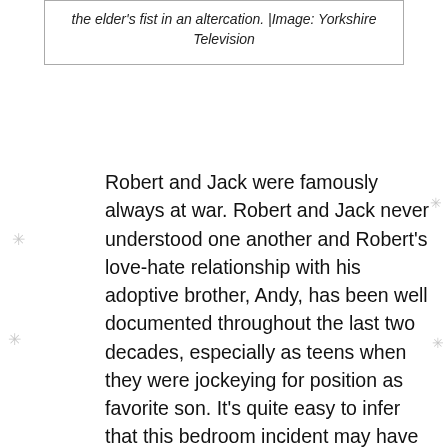the elder's fist in an altercation. |Image: Yorkshire Television
Robert and Jack were famously always at war. Robert and Jack never understood one another and Robert's love-hate relationship with his adoptive brother, Andy, has been well documented throughout the last two decades, especially as teens when they were jockeying for position as favorite son. It's quite easy to infer that this bedroom incident may have been in the back of Jack's mind when he sent Robert away from the village for good soon thereafter when the Sugden brothers and Katie Addyman were involved in the infamous “playing chicken car accident” that killed Max King.